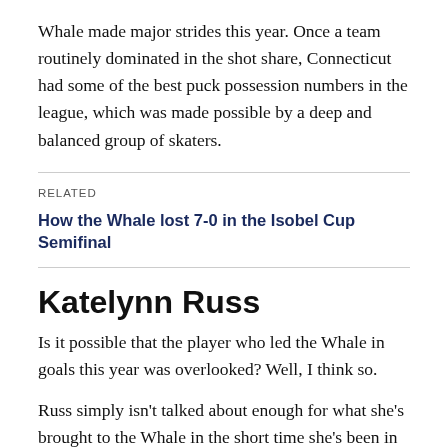Whale made major strides this year. Once a team routinely dominated in the shot share, Connecticut had some of the best puck possession numbers in the league, which was made possible by a deep and balanced group of skaters.
RELATED
How the Whale lost 7-0 in the Isobel Cup Semifinal
Katelynn Russ
Is it possible that the player who led the Whale in goals this year was overlooked? Well, I think so.
Russ simply isn't talked about enough for what she's brought to the Whale in the short time she's been in the NWHL. If we include the playoffs, Russ has four